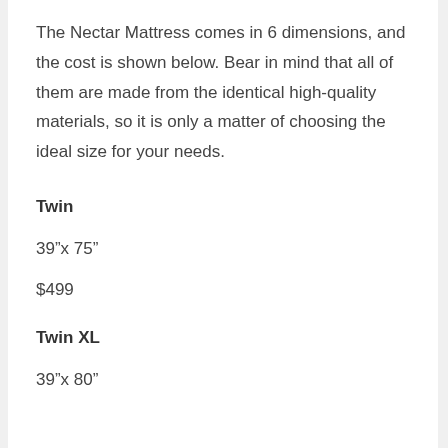The Nectar Mattress comes in 6 dimensions, and the cost is shown below. Bear in mind that all of them are made from the identical high-quality materials, so it is only a matter of choosing the ideal size for your needs.
Twin
39”x 75”
$499
Twin XL
39”x 80”